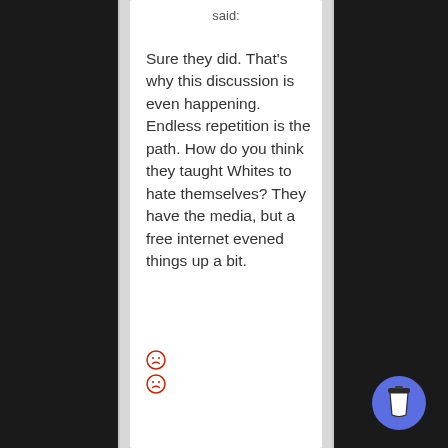said:
Sure they did. That's why this discussion is even happening. Endless repetition is the path. How do you think they taught Whites to hate themselves? They have the media, but a free internet evened things up a bit.
[Figure (illustration): Two red frowning/sad emoji faces stacked vertically]
[Figure (illustration): Blue coffee cup button in bottom-right corner]